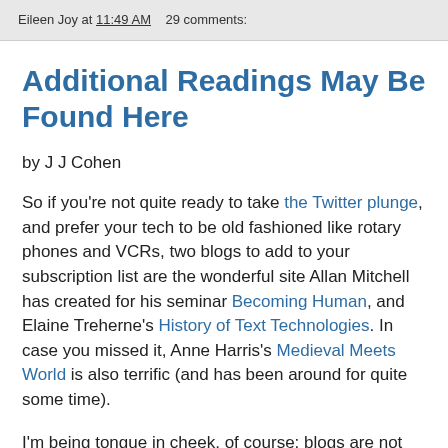Eileen Joy at 11:49 AM   29 comments:
Additional Readings May Be Found Here
by J J Cohen
So if you're not quite ready to take the Twitter plunge, and prefer your tech to be old fashioned like rotary phones and VCRs, two blogs to add to your subscription list are the wonderful site Allan Mitchell has created for his seminar Becoming Human, and Elaine Treherne's History of Text Technologies. In case you missed it, Anne Harris's Medieval Meets World is also terrific (and has been around for quite some time).
I'm being tongue in cheek, of course: blogs are not old tech so much as a comfortable expanse within our current scholarly landscape. If they don't seem especially new any more, that doesn't mean they are any less useful. Or